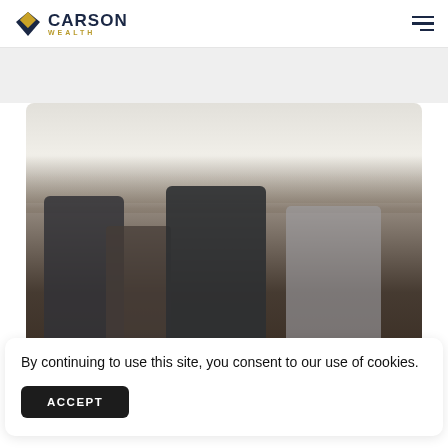Carson Wealth
[Figure (photo): Four young adults laughing and posing together outdoors against a bright sky background]
By continuing to use this site, you consent to our use of cookies.
ACCEPT